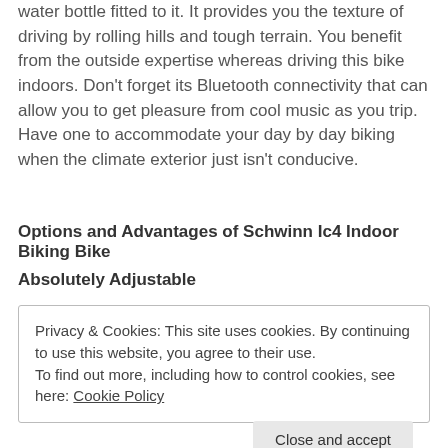water bottle fitted to it. It provides you the texture of driving by rolling hills and tough terrain. You benefit from the outside expertise whereas driving this bike indoors. Don't forget its Bluetooth connectivity that can allow you to get pleasure from cool music as you trip. Have one to accommodate your day by day biking when the climate exterior just isn't conducive.
Options and Advantages of Schwinn Ic4 Indoor Biking Bike
Absolutely Adjustable
Privacy & Cookies: This site uses cookies. By continuing to use this website, you agree to their use.
To find out more, including how to control cookies, see here: Cookie Policy